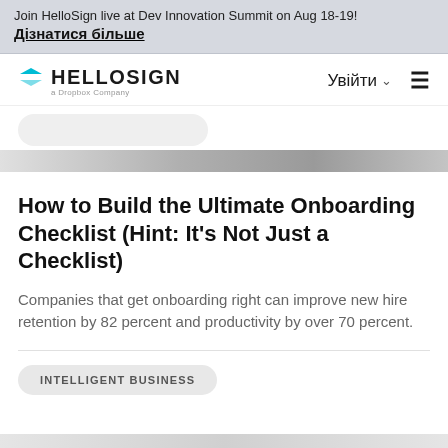Join HelloSign live at Dev Innovation Summit on Aug 18-19!
Дізнатися більше
[Figure (logo): HelloSign logo with cyan triangle/chevron icon, wordmark 'HELLOSIGN', subtitle 'a Dropbox Company', navigation with 'Увійти' login and hamburger menu]
How to Build the Ultimate Onboarding Checklist (Hint: It's Not Just a Checklist)
Companies that get onboarding right can improve new hire retention by 82 percent and productivity by over 70 percent.
INTELLIGENT BUSINESS